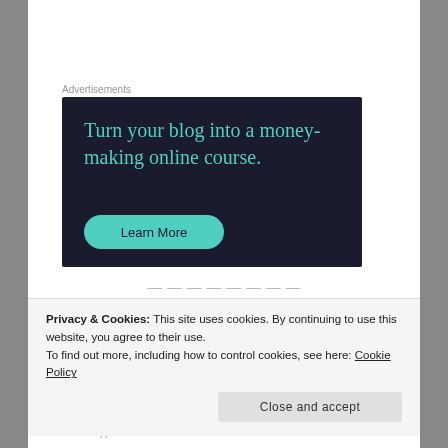Advertisements
[Figure (infographic): Dark navy advertisement banner with teal/green text reading 'Turn your blog into a money-making online course.' and a teal 'Learn More' button.]
Privacy & Cookies: This site uses cookies. By continuing to use this website, you agree to their use.
To find out more, including how to control cookies, see here: Cookie Policy
Close and accept